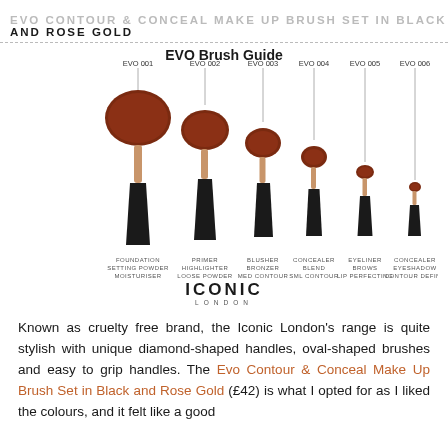EVO CONTOUR & CONCEAL MAKE UP BRUSH SET IN BLACK AND ROSE GOLD
[Figure (illustration): EVO Brush Guide showing 6 oval makeup brushes of decreasing size labeled EVO 001 through EVO 006, each with a black diamond-shaped handle and rose gold stem. Labels below each brush: EVO 001 Foundation/Setting Powder/Moisturiser, EVO 002 Primer/Highlighter/Loose Powder, EVO 003 Blusher/Bronzer/Med Contour, EVO 004 Concealer/Blend/Sml Contour, EVO 005 Eyeliner/Brows/Lip Perfecting, EVO 006 Concealer/Eyeshadow/Contour Define. Iconic London logo at bottom.]
Known as cruelty free brand, the Iconic London's range is quite stylish with unique diamond-shaped handles, oval-shaped brushes and easy to grip handles. The Evo Contour & Conceal Make Up Brush Set in Black and Rose Gold (£42) is what I opted for as I liked the colours, and it felt like a good